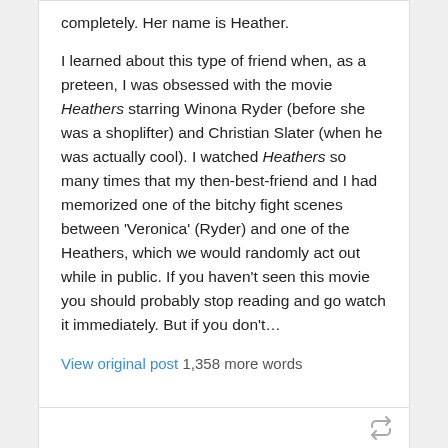completely.  Her name is Heather.

I learned about this type of friend when, as a preteen, I was obsessed with the movie Heathers starring Winona Ryder (before she was a shoplifter) and Christian Slater (when he was actually cool).  I watched Heathers so many times that my then-best-friend and I had memorized one of the bitchy fight scenes between 'Veronica' (Ryder) and one of the Heathers, which we would randomly act out while in public.  If you haven't seen this movie you should probably stop reading and go watch it immediately.  But if you don't…
View original post 1,358 more words